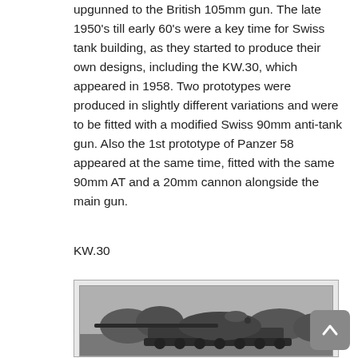upgunned to the British 105mm gun. The late 1950's till early 60's were a key time for Swiss tank building, as they started to produce their own designs, including the KW.30, which appeared in 1958. Two prototypes were produced in slightly different variations and were to be fitted with a modified Swiss 90mm anti-tank gun. Also the 1st prototype of Panzer 58 appeared at the same time, fitted with the same 90mm AT and a 20mm cannon alongside the main gun.
KW.30
[Figure (photo): Black and white photograph of the KW.30 tank prototype, showing the turret and long gun barrel, with trees visible in the background.]